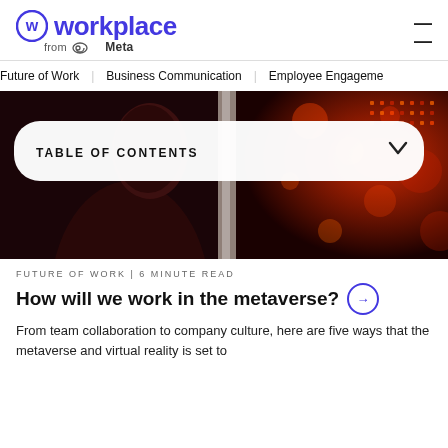workplace from Meta
Future of Work   Business Communication   Employee Engagement
[Figure (photo): Person viewed in profile against a red/orange bokeh background with digital light panels]
TABLE OF CONTENTS
FUTURE OF WORK | 6 MINUTE READ
How will we work in the metaverse?
From team collaboration to company culture, here are five ways that the metaverse and virtual reality is set to